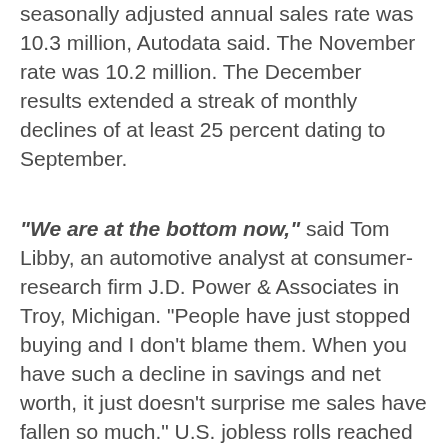seasonally adjusted annual sales rate was 10.3 million, Autodata said. The November rate was 10.2 million. The December results extended a streak of monthly declines of at least 25 percent dating to September.
"We are at the bottom now," said Tom Libby, an automotive analyst at consumer-research firm J.D. Power & Associates in Troy, Michigan. "People have just stopped buying and I don't blame them. When you have such a decline in savings and net worth, it just doesn't surprise me sales have fallen so much." U.S. jobless rolls reached a 26-year high in the week ended Dec. 20, signaling a worsening labor market as the economy heads into the second year of a recession. That weakness adds to the strain on automakers after record fuel prices in 2008's first half damped demand for full-size pickups and sport-utility vehicles. Yesterday's results also showed the industry's performance for the month in which GM and Chrysler received commitments